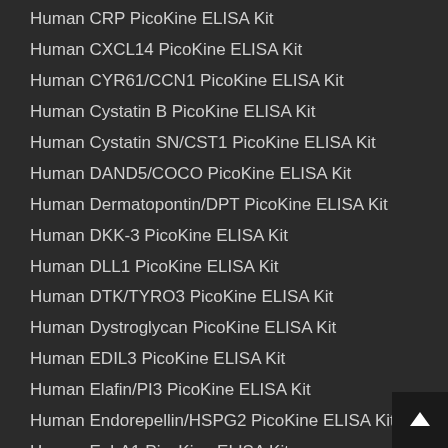Human CRP PicoKine ELISA Kit
Human CXCL14 PicoKine ELISA Kit
Human CYR61/CCN1 PicoKine ELISA Kit
Human Cystatin B PicoKine ELISA Kit
Human Cystatin SN/CST1 PicoKine ELISA Kit
Human DAND5/COCO PicoKine ELISA Kit
Human Dermatopontin/DPT PicoKine ELISA Kit
Human DKK-3 PicoKine ELISA Kit
Human DLL1 PicoKine ELISA Kit
Human DTK/TYRO3 PicoKine ELISA Kit
Human Dystroglycan PicoKine ELISA Kit
Human EDIL3 PicoKine ELISA Kit
Human Elafin/PI3 PicoKine ELISA Kit
Human Endorepellin/HSPG2 PicoKine ELISA Kit
Human EphA1 PicoKine ELISA Kit
Human EphA2 PicoKine ELISA Kit
Human Epiregulin PicoKine ELISA Kit
Human ERBB3/Her3 PicoKine ELISA Kit